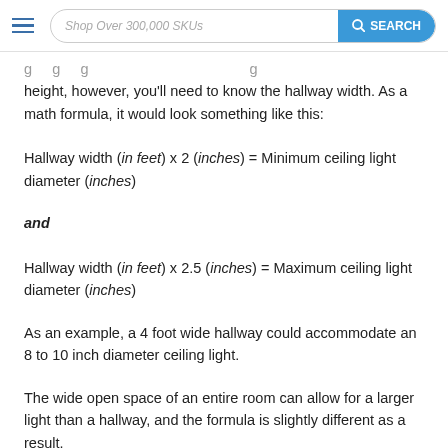Shop Over 300,000 SKUs  SEARCH
height, however, you'll need to know the hallway width. As a math formula, it would look something like this:
and
As an example, a 4 foot wide hallway could accommodate an 8 to 10 inch diameter ceiling light.
The wide open space of an entire room can allow for a larger light than a hallway, and the formula is slightly different as a result.
Room Width (in feet) + Room Length (in feet) = Maximum